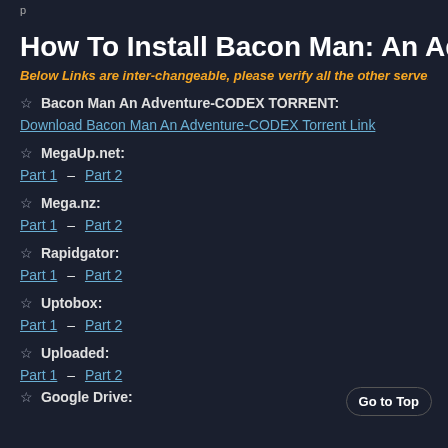p
How To Install Bacon Man: An Adventure Game
Below Links are inter-changeable, please verify all the other servers b
☆ Bacon Man An Adventure-CODEX TORRENT:
Download Bacon Man An Adventure-CODEX Torrent Link
☆ MegaUp.net:
Part 1 – Part 2
☆ Mega.nz:
Part 1 – Part 2
☆ Rapidgator:
Part 1 – Part 2
☆ Uptobox:
Part 1 – Part 2
☆ Uploaded:
Part 1 – Part 2
☆ Google Drive: